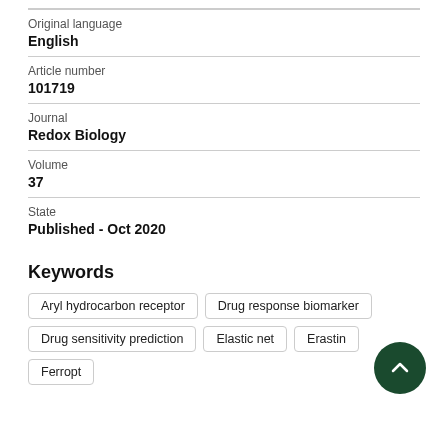Original language
English
Article number
101719
Journal
Redox Biology
Volume
37
State
Published - Oct 2020
Keywords
Aryl hydrocarbon receptor
Drug response biomarker
Drug sensitivity prediction
Elastic net
Erastin
Ferropt…